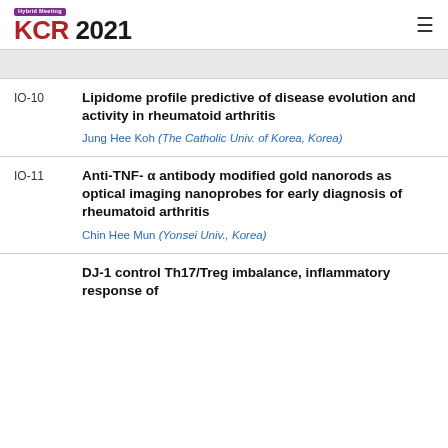KCR 2021 Hybrid Meeting
IO-10
Lipidome profile predictive of disease evolution and activity in rheumatoid arthritis
Jung Hee Koh (The Catholic Univ. of Korea, Korea)
IO-11
Anti-TNF- α antibody modified gold nanorods as optical imaging nanoprobes for early diagnosis of rheumatoid arthritis
Chin Hee Mun (Yonsei Univ., Korea)
DJ-1 control Th17/Treg imbalance, inflammatory response of